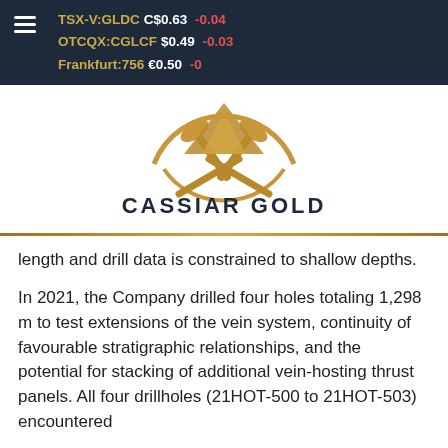TSX-V:GLDC C$0.63 -0.04 | OTCQX:CGLCF $0.49 -0.03 | Frankfurt:756 €0.50 -0
[Figure (logo): Cassiar Gold company logo with crossed pickaxes and mountain graphic in gold/copper color, company name CASSIAR GOLD in dark navy bold text below]
length and drill data is constrained to shallow depths.
In 2021, the Company drilled four holes totaling 1,298 m to test extensions of the vein system, continuity of favourable stratigraphic relationships, and the potential for stacking of additional vein-hosting thrust panels. All four drillholes (21HOT-500 to 21HOT-503) encountered